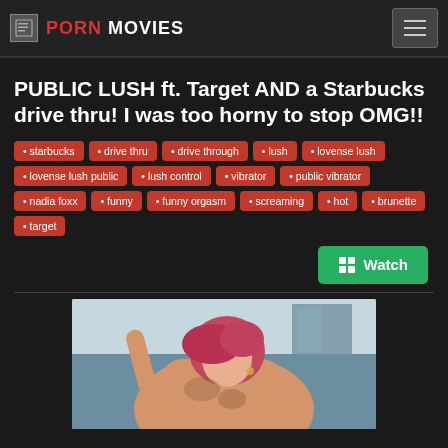PORN MOVIES
PUBLIC LUSH ft. Target AND a Starbucks drive thru! I was too horny to stop OMG!!
• starbucks
• drive thru
• drive through
• lush
• lovense lush
• lovense lush public
• lush control
• vibrator
• public vibrator
• nadia foxx
• funny
• funny orgasm
• screaming
• hot
• brunette
• target
[Figure (photo): Watch button with grid icon]
[Figure (photo): Thumbnail of a woman with pink/red hair outdoors]